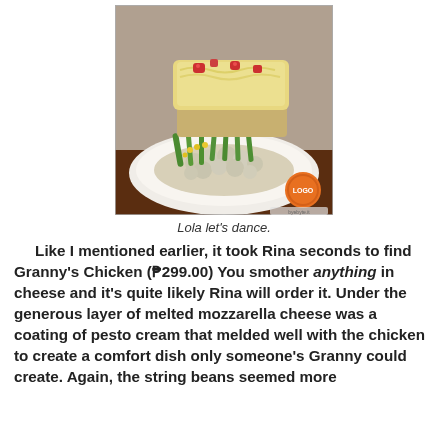[Figure (photo): A plate of Granny's Chicken dish with melted mozzarella cheese on top, green beans, corn, tomatoes, and a bed of what appears to be cauliflower or rice. A restaurant logo watermark is visible in the bottom right corner of the image.]
Lola let's dance.
Like I mentioned earlier, it took Rina seconds to find Granny's Chicken (₱299.00) You smother anything in cheese and it's quite likely Rina will order it. Under the generous layer of melted mozzarella cheese was a coating of pesto cream that melded well with the chicken to create a comfort dish only someone's Granny could create. Again, the string beans seemed more